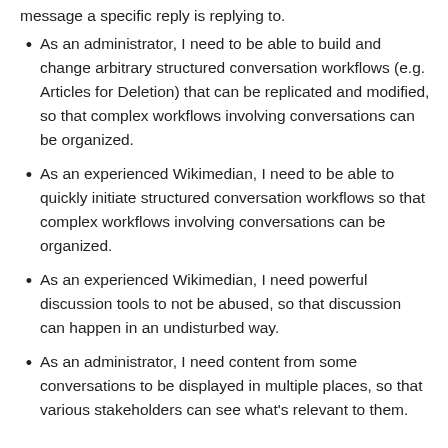message a specific reply is replying to.
As an administrator, I need to be able to build and change arbitrary structured conversation workflows (e.g. Articles for Deletion) that can be replicated and modified, so that complex workflows involving conversations can be organized.
As an experienced Wikimedian, I need to be able to quickly initiate structured conversation workflows so that complex workflows involving conversations can be organized.
As an experienced Wikimedian, I need powerful discussion tools to not be abused, so that discussion can happen in an undisturbed way.
As an administrator, I need content from some conversations to be displayed in multiple places, so that various stakeholders can see what's relevant to them.